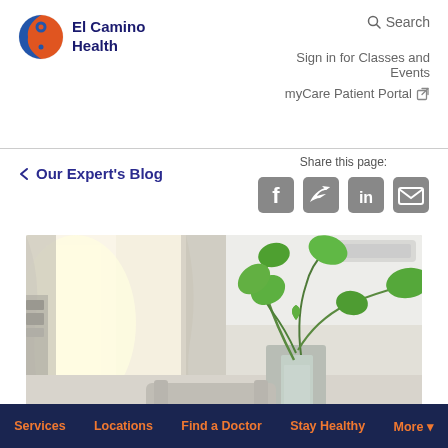El Camino Health — Search | Sign in for Classes and Events | myCare Patient Portal
← Our Expert's Blog
Share this page:
[Figure (photo): Indoor room with green leafy plant in vase near bright window, curtains in background, minimalist interior]
Services  Locations  Find a Doctor  Stay Healthy  More